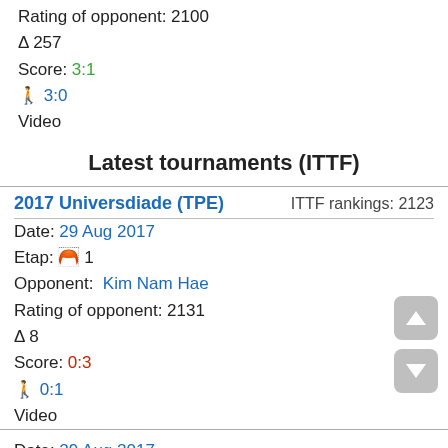Rating of opponent: 2100
Δ 257
Score: 3:1
🏃 3:0
Video
Latest tournaments (ITTF)
2017 Universdiade (TPE)    ITTF rankings: 2123
Date: 29 Aug 2017
Etap: 🏅 1
Opponent:  Kim Nam Hae
Rating of opponent: 2131
Δ 8
Score: 0:3
🏃 0:1
Video
Date: 29 Aug 2017